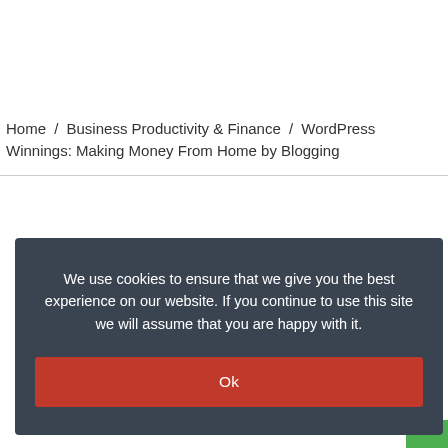Home / Business Productivity & Finance / WordPress Winnings: Making Money From Home by Blogging
We use cookies to ensure that we give you the best experience on our website. If you continue to use this site we will assume that you are happy with it.
Ok